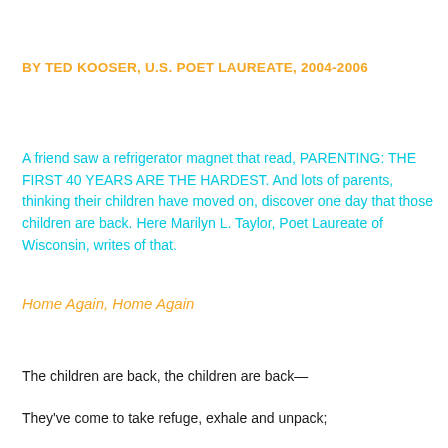BY TED KOOSER, U.S. POET LAUREATE, 2004-2006
A friend saw a refrigerator magnet that read, PARENTING: THE FIRST 40 YEARS ARE THE HARDEST. And lots of parents, thinking their children have moved on, discover one day that those children are back. Here Marilyn L. Taylor, Poet Laureate of Wisconsin, writes of that.
Home Again, Home Again
The children are back, the children are back—
They've come to take refuge, exhale and unpack;